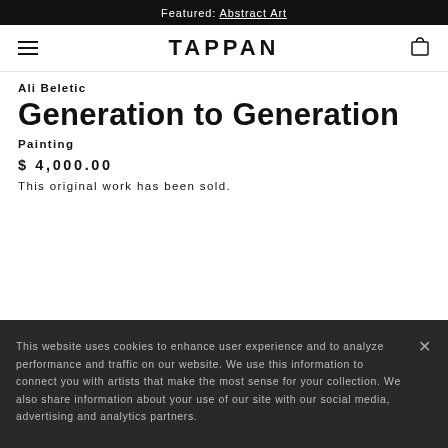Featured: Abstract Art
[Figure (screenshot): TAPPAN logo navigation bar with hamburger menu on left and shopping bag icon on right]
Ali Beletic
Generation to Generation
Painting
$ 4,000.00
This original work has been sold.
This website uses cookies to enhance user experience and to analyze performance and traffic on our website. We use this information to connect you with artists that make the most sense for your collection. We also share information about your use of our site with our social media, advertising and analytics partners.